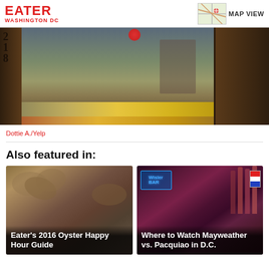EATER WASHINGTON DC
[Figure (photo): Exterior shot of restaurant with address number 218 visible on wooden door, produce display including lemons and citrus fruits in window]
Dottie A./Yelp
Also featured in:
[Figure (photo): Close-up of oysters on a half shell - Eater's 2016 Oyster Happy Hour Guide]
[Figure (photo): Bar with bottles and neon signs - Where to Watch Mayweather vs. Pacquiao in D.C.]